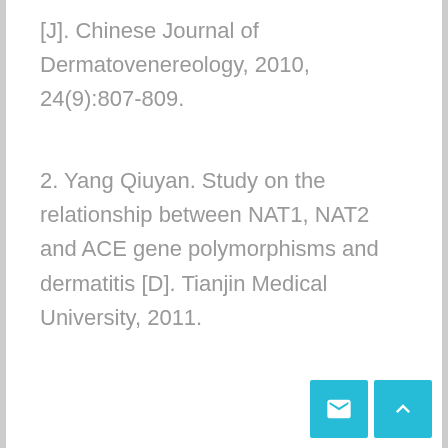[J]. Chinese Journal of Dermatovenereology, 2010, 24(9):807-809.
2. Yang Qiuyan. Study on the relationship between NAT1, NAT2 and ACE gene polymorphisms and dermatitis [D]. Tianjin Medical University, 2011.